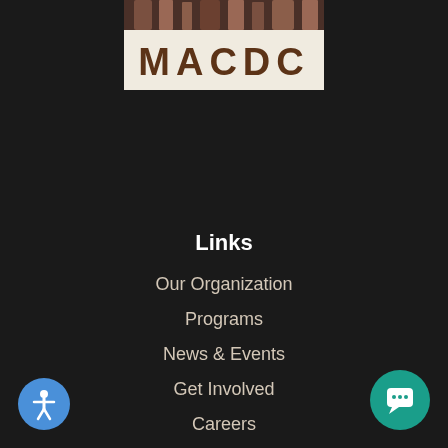[Figure (logo): MACDC organization logo with stylized tree trunks at top and bold brown MACDC lettering on cream background]
Links
Our Organization
Programs
News & Events
Get Involved
Careers
Contact
[Figure (illustration): Accessibility icon button - blue circle with white person figure]
[Figure (illustration): Chat button - teal circle with white speech bubble icon]